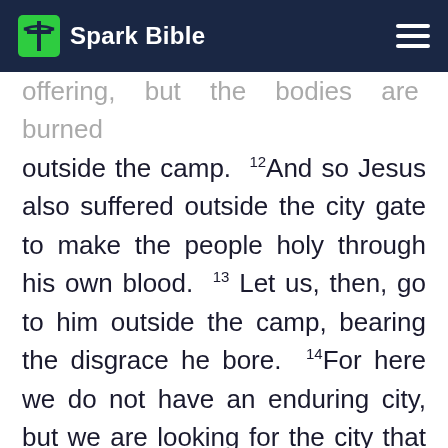Spark Bible
offering, but the bodies are burned outside the camp. 12 And so Jesus also suffered outside the city gate to make the people holy through his own blood. 13 Let us, then, go to him outside the camp, bearing the disgrace he bore. 14 For here we do not have an enduring city, but we are looking for the city that is to come. 15 Through Jesus, therefore, let us continually offer to God a sacrifice of praise—the fruit of lips that openly